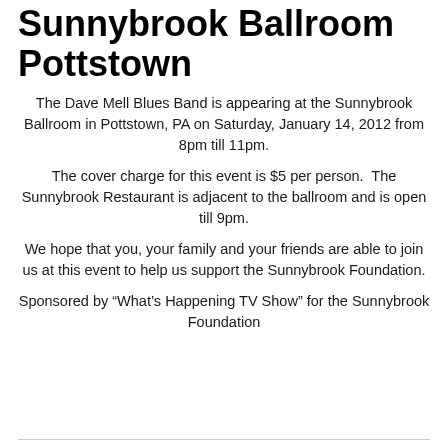Sunnybrook Ballroom Pottstown
The Dave Mell Blues Band is appearing at the Sunnybrook Ballroom in Pottstown, PA on Saturday, January 14, 2012 from 8pm till 11pm.
The cover charge for this event is $5 per person.  The Sunnybrook Restaurant is adjacent to the ballroom and is open till 9pm.
We hope that you, your family and your friends are able to join us at this event to help us support the Sunnybrook Foundation.
Sponsored by “What’s Happening TV Show” for the Sunnybrook Foundation